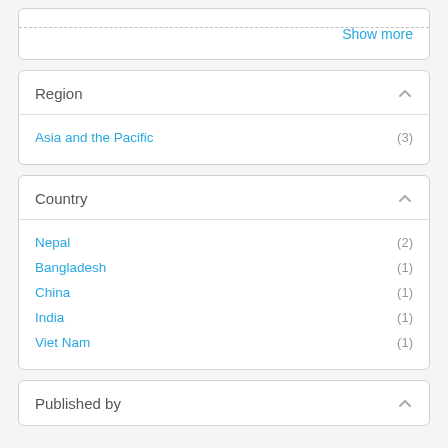Show more
Region
Asia and the Pacific (3)
Country
Nepal (2)
Bangladesh (1)
China (1)
India (1)
Viet Nam (1)
Published by